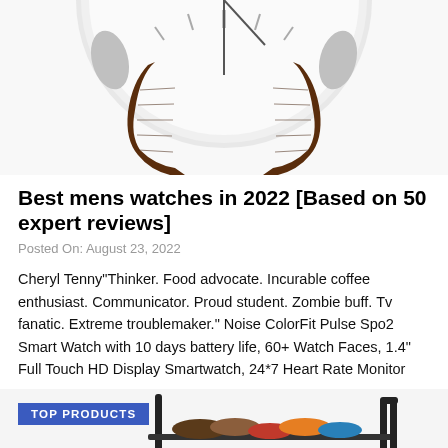[Figure (photo): A men's wristwatch with a white dial, silver case, and brown leather strap, cropped to show the lower portion of the watch face and strap.]
Best mens watches in 2022 [Based on 50 expert reviews]
Posted On: August 23, 2022
Cheryl Tenny"Thinker. Food advocate. Incurable coffee enthusiast. Communicator. Proud student. Zombie buff. Tv fanatic. Extreme troublemaker." Noise ColorFit Pulse Spo2 Smart Watch with 10 days battery life, 60+ Watch Faces, 1.4" Full Touch HD Display Smartwatch, 24*7 Heart Rate Monitor
[Figure (photo): A black metal shoe rack loaded with multiple pairs of shoes, with a 'TOP PRODUCTS' badge overlay in the upper left corner.]